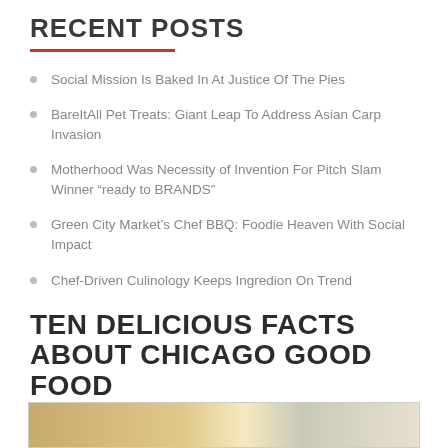RECENT POSTS
Social Mission Is Baked In At Justice Of The Pies
BareItAll Pet Treats: Giant Leap To Address Asian Carp Invasion
Motherhood Was Necessity of Invention For Pitch Slam Winner “ready to BRANDS”
Green City Market’s Chef BBQ: Foodie Heaven With Social Impact
Chef-Driven Culinology Keeps Ingredion On Trend
TEN DELICIOUS FACTS ABOUT CHICAGO GOOD FOOD
[Figure (photo): Partial photo strip at bottom of page showing food-related imagery]